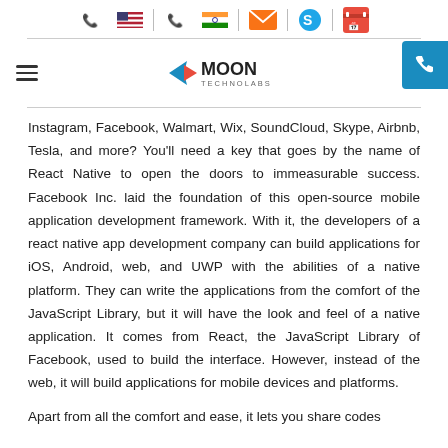Moon Technolabs - Navigation header with contact icons and logo
Instagram, Facebook, Walmart, Wix, SoundCloud, Skype, Airbnb, Tesla, and more? You'll need a key that goes by the name of React Native to open the doors to immeasurable success. Facebook Inc. laid the foundation of this open-source mobile application development framework. With it, the developers of a react native app development company can build applications for iOS, Android, web, and UWP with the abilities of a native platform. They can write the applications from the comfort of the JavaScript Library, but it will have the look and feel of a native application. It comes from React, the JavaScript Library of Facebook, used to build the interface. However, instead of the web, it will build applications for mobile devices and platforms.
Apart from all the comfort and ease, it lets you share codes